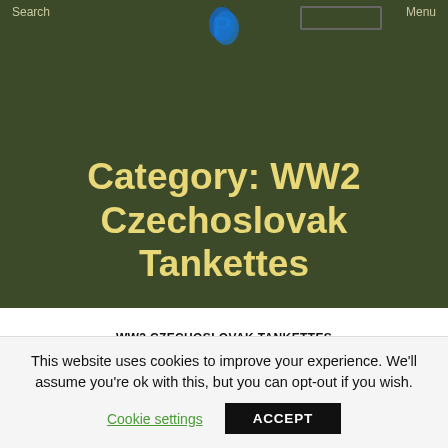Search | Menu
Category: WW2 Czechoslovak Tankettes
WW2 CZECHOSLOVAK TANKETTES
WW2 YUGOSLAVIAN ARMOR
Škoda Š-I-d (T-32)
By MarkoPantelic  April 11, 2022  3 Comments
This website uses cookies to improve your experience. We'll assume you're ok with this, but you can opt-out if you wish. Cookie settings  ACCEPT